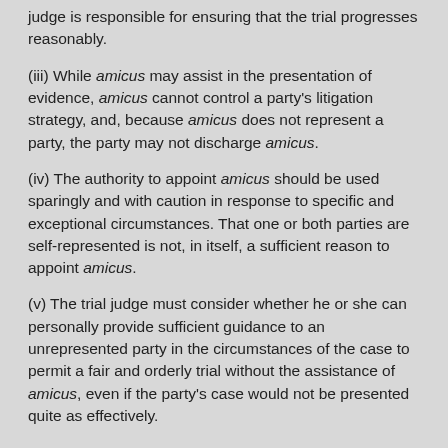judge is responsible for ensuring that the trial progresses reasonably.
(iii) While amicus may assist in the presentation of evidence, amicus cannot control a party's litigation strategy, and, because amicus does not represent a party, the party may not discharge amicus.
(iv) The authority to appoint amicus should be used sparingly and with caution in response to specific and exceptional circumstances. That one or both parties are self-represented is not, in itself, a sufficient reason to appoint amicus.
(v) The trial judge must consider whether he or she can personally provide sufficient guidance to an unrepresented party in the circumstances of the case to permit a fair and orderly trial without the assistance of amicus, even if the party's case would not be presented quite as effectively.